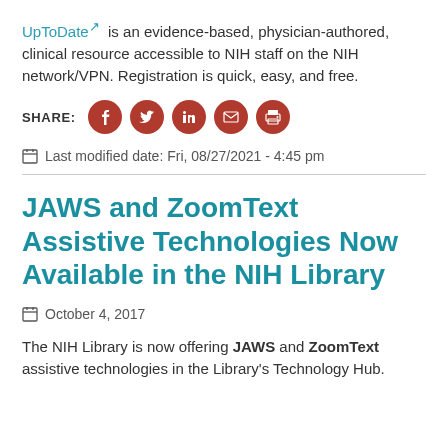UpToDate is an evidence-based, physician-authored, clinical resource accessible to NIH staff on the NIH network/VPN. Registration is quick, easy, and free.
SHARE: [social media icons: Facebook, Twitter, LinkedIn, Email, Print]
Last modified date: Fri, 08/27/2021 - 4:45 pm
JAWS and ZoomText Assistive Technologies Now Available in the NIH Library
October 4, 2017
The NIH Library is now offering JAWS and ZoomText assistive technologies in the Library's Technology Hub.